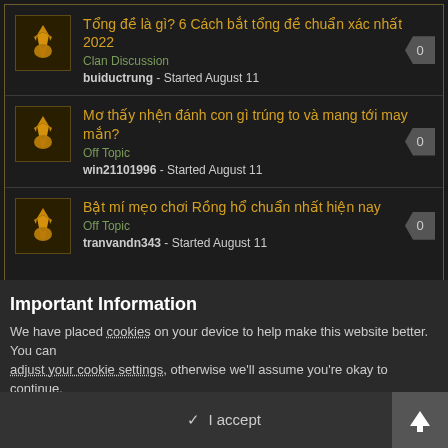Tổng đề là gì? 6 Cách bắt tổng đề chuẩn xác nhất 2022 | Clan Discussion | buiductrung - Started August 11 | 0
Mơ thấy nhện đánh con gì trúng to và mang tới may mắn? | Off Topic | win21101996 - Started August 11 | 0
Bật mí mẹo chơi Rồng hổ chuẩn nhất hiện nay | Off Topic | tranvandn343 - Started August 11 | 0
Important Information
We have placed cookies on your device to help make this website better. You can adjust your cookie settings, otherwise we'll assume you're okay to continue.
✓  I accept